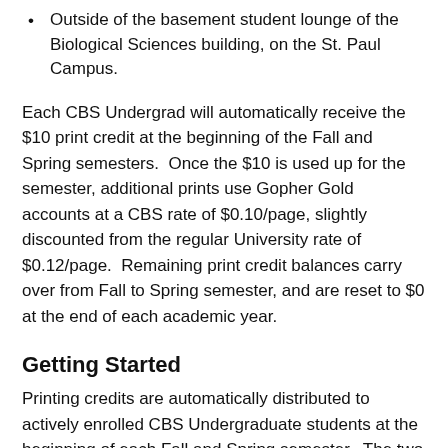Outside of the basement student lounge of the Biological Sciences building, on the St. Paul Campus.
Each CBS Undergrad will automatically receive the $10 print credit at the beginning of the Fall and Spring semesters.  Once the $10 is used up for the semester, additional prints use Gopher Gold accounts at a CBS rate of $0.10/page, slightly discounted from the regular University rate of $0.12/page.  Remaining print credit balances carry over from Fall to Spring semester, and are reset to $0 at the end of each academic year.
Getting Started
Printing credits are automatically distributed to actively enrolled CBS Undergraduate students at the beginning of each Fall and Spring semester.  The two listed CBS printers will automatically use any available printing credit before defaulting to Gopher Gold accounts.